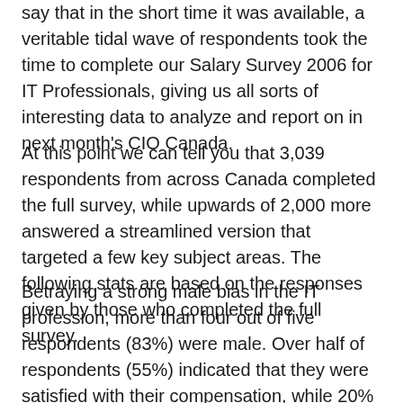say that in the short time it was available, a veritable tidal wave of respondents took the time to complete our Salary Survey 2006 for IT Professionals, giving us all sorts of interesting data to analyze and report on in next month's CIO Canada.
At this point we can tell you that 3,039 respondents from across Canada completed the full survey, while upwards of 2,000 more answered a streamlined version that targeted a few key subject areas. The following stats are based on the responses given by those who completed the full survey.
Betraying a strong male bias in the IT profession, more than four out of five respondents (83%) were male. Over half of respondents (55%) indicated that they were satisfied with their compensation, while 20% were dissatisfied and 25% were neutral.